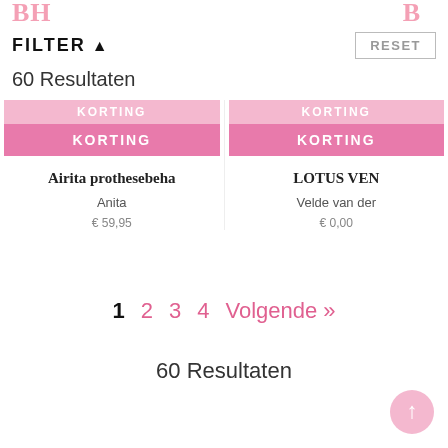[Figure (logo): Partial pink logo letters 'BH' on left and partial letters on right, cropped at top of page]
FILTER ▲
RESET
60 Resultaten
KORTING
KORTING
Airita prothesebeha
LOTUS VEN
Anita
Velde van der
€ 59,95
€ 0,00
1  2  3  4  Volgende »
60 Resultaten